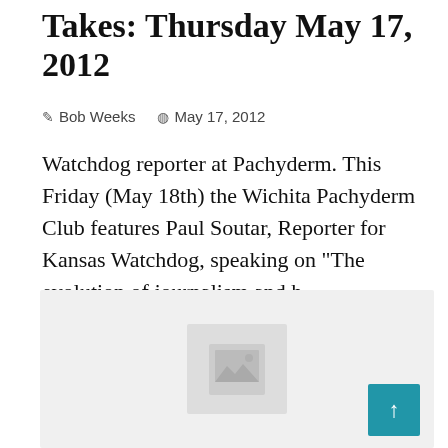Takes: Thursday May 17, 2012
Bob Weeks   May 17, 2012
Watchdog reporter at Pachyderm. This Friday (May 18th) the Wichita Pachyderm Club features Paul Soutar, Reporter for Kansas Watchdog, speaking on "The evolution of journalism and h...
[Figure (photo): Placeholder image thumbnail with a broken/missing image icon on a light gray background, with a teal scroll-to-top button in the bottom right corner]